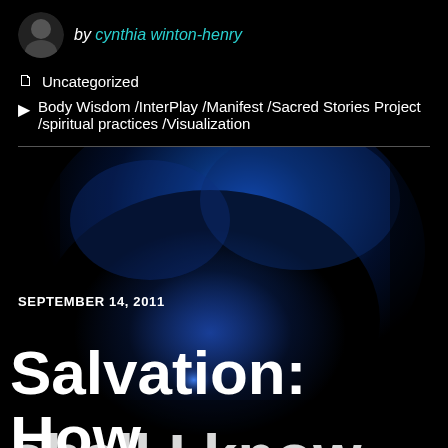by cynthia winton-henry
Uncategorized
Body Wisdom /InterPlay /Manifest /Sacred Stories Project /spiritual practices /Visualization
[Figure (illustration): Dark blue glowing nebula/smoke silhouette on black background]
SEPTEMBER 14, 2011
Salvation: How shall I know...